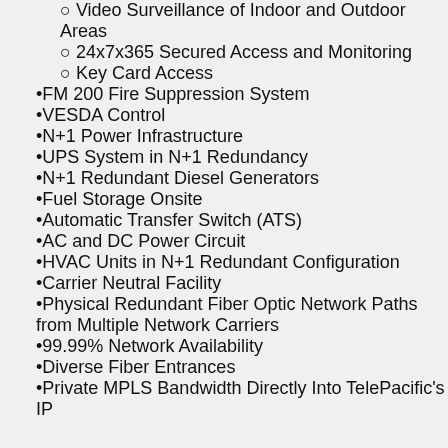Video Surveillance of Indoor and Outdoor Areas
24x7x365 Secured Access and Monitoring
Key Card Access
FM 200 Fire Suppression System
VESDA Control
N+1 Power Infrastructure
UPS System in N+1 Redundancy
N+1 Redundant Diesel Generators
Fuel Storage Onsite
Automatic Transfer Switch (ATS)
AC and DC Power Circuit
HVAC Units in N+1 Redundant Configuration
Carrier Neutral Facility
Physical Redundant Fiber Optic Network Paths from Multiple Network Carriers
99.99% Network Availability
Diverse Fiber Entrances
Private MPLS Bandwidth Directly Into TelePacific's IP